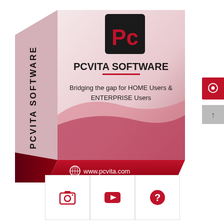[Figure (illustration): PCVITA Software product box with logo, tagline 'Bridging the gap for HOME Users & ENTERPRISE Users', and website www.pcvita.com]
[Figure (infographic): Three icon buttons: camera, play button, and question mark]